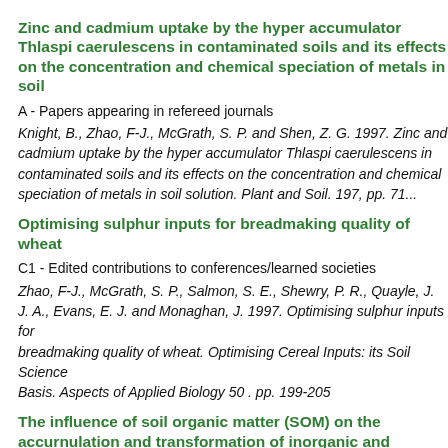Zinc and cadmium uptake by the hyper accumulator Thlaspi caerulescens in contaminated soils and its effects on the concentration and chemical speciation of metals in soil
A - Papers appearing in refereed journals
Knight, B., Zhao, F-J., McGrath, S. P. and Shen, Z. G. 1997. Zinc and cadmium uptake by the hyper accumulator Thlaspi caerulescens in contaminated soils and its effects on the concentration and chemical speciation of metals in soil solution. Plant and Soil. 197, pp. 71...
Optimising sulphur inputs for breadmaking quality of wheat
C1 - Edited contributions to conferences/learned societies
Zhao, F-J., McGrath, S. P., Salmon, S. E., Shewry, P. R., Quayle, J. A., Evans, E. J. and Monaghan, J. 1997. Optimising sulphur inputs for breadmaking quality of wheat. Optimising Cereal Inputs: its Sc... Basis. Aspects of Applied Biology 50 . pp. 199-205
The influence of soil organic matter (SOM) on the accumulation and transformation of inorganic and organic pollutants. Final report on INTAS project 93-1168
D1 - Technical reports: non-confidential